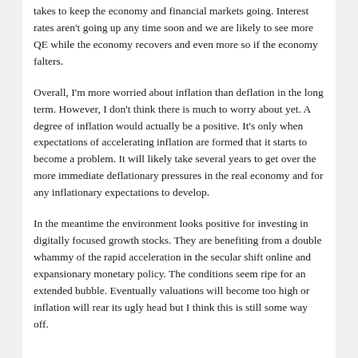takes to keep the economy and financial markets going. Interest rates aren't going up any time soon and we are likely to see more QE while the economy recovers and even more so if the economy falters.
Overall, I'm more worried about inflation than deflation in the long term. However, I don't think there is much to worry about yet. A degree of inflation would actually be a positive. It's only when expectations of accelerating inflation are formed that it starts to become a problem. It will likely take several years to get over the more immediate deflationary pressures in the real economy and for any inflationary expectations to develop.
In the meantime the environment looks positive for investing in digitally focused growth stocks. They are benefiting from a double whammy of the rapid acceleration in the secular shift online and expansionary monetary policy. The conditions seem ripe for an extended bubble. Eventually valuations will become too high or inflation will rear its ugly head but I think this is still some way off.